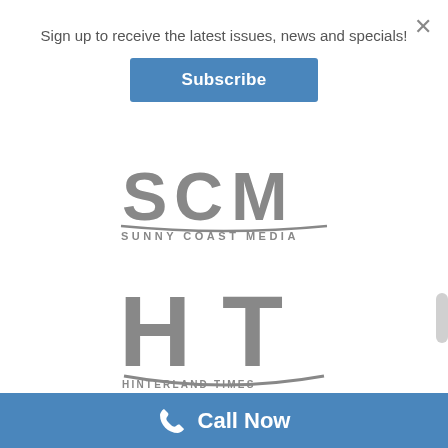Sign up to receive the latest issues, news and specials!
Subscribe
[Figure (logo): SCM Sunny Coast Media logo in grey]
[Figure (logo): HT Hinterland Times logo in grey (partially visible)]
Call Now